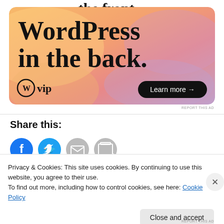[Figure (screenshot): WordPress VIP advertisement banner with colorful blob background. Text reads 'WordPress in the back.' with WordPress VIP logo and 'Learn more →' button.]
REPORT THIS AD
Share this:
[Figure (infographic): Social sharing icons: Facebook (blue), Twitter (blue), Email (grey), Print (grey)]
Privacy & Cookies: This site uses cookies. By continuing to use this website, you agree to their use.
To find out more, including how to control cookies, see here: Cookie Policy
Close and accept
REPORT THIS AD